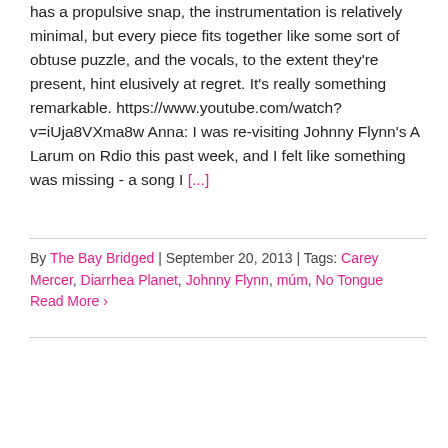has a propulsive snap, the instrumentation is relatively minimal, but every piece fits together like some sort of obtuse puzzle, and the vocals, to the extent they're present, hint elusively at regret. It's really something remarkable. https://www.youtube.com/watch?v=iUja8VXma8w Anna: I was re-visiting Johnny Flynn's A Larum on Rdio this past week, and I felt like something was missing - a song I [...]
By The Bay Bridged | September 20, 2013 | Tags: Carey Mercer, Diarrhea Planet, Johnny Flynn, múm, No Tongue Read More ›